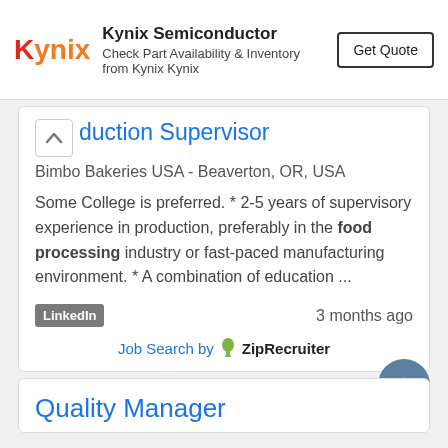[Figure (logo): Kynix Semiconductor advertisement banner with Kynix logo, text 'Check Part Availability & Inventory from Kynix Kynix', and 'Get Quote' button]
duction Supervisor
Bimbo Bakeries USA - Beaverton, OR, USA
Some College is preferred. * 2-5 years of supervisory experience in production, preferably in the food processing industry or fast-paced manufacturing environment. * A combination of education ...
LinkedIn   3 months ago
Job Search by ZipRecruiter
Quality Manager